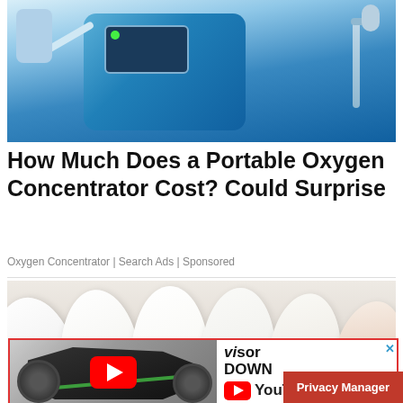[Figure (photo): Photo of a blue portable oxygen concentrator machine with tubes and attachments]
How Much Does a Portable Oxygen Concentrator Cost? Could Surprise
Oxygen Concentrator | Search Ads | Sponsored
[Figure (photo): Close-up render of white teeth and pink gums, with a close/X button overlay]
[Figure (screenshot): Advertisement banner showing a black motorcycle with YouTube play button overlay, VisorDown logo, YouTube logo text, and a Privacy Manager red button in the bottom-right corner]